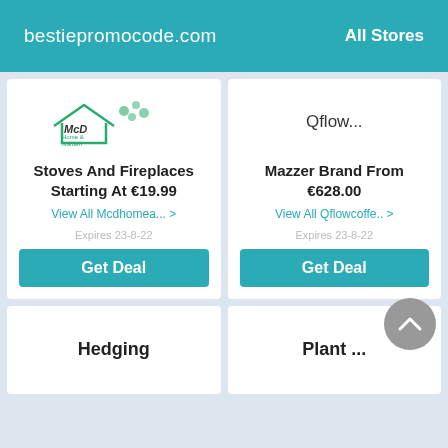bestiepromocode.com    All Stores
[Figure (logo): McD Home & Garden logo with house and floral design]
Stoves And Fireplaces Starting At €19.99
View All Mcdhomea... >
Expires 23-8-22
Get Deal
Qflow...
Mazzer Brand From €628.00
View All Qflowcoffe.. >
Expires 23-8-22
Get Deal
Hedging
Plant ...